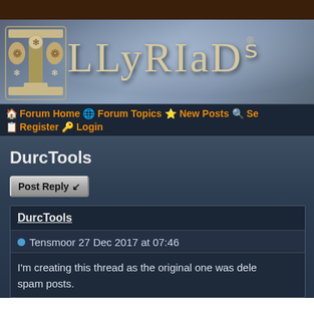[Figure (logo): Llyriad game forum logo with ornate medieval-style lettering and decorative emblem on a grey misty background]
🏠 Forum Home 🌐 Forum Topics ⭐ New Posts 🔍 Se... 📋 Register 🔑 Login
DurcTools
Post Reply ↙
DurcTools
Tensmoor 27 Dec 2017 at 07:46
I'm creating this thread as the original one was dele... spam posts.